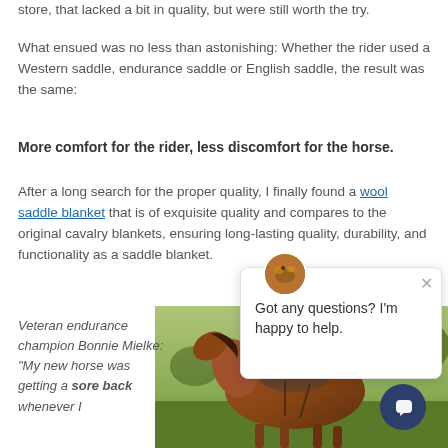store, that lacked a bit in quality, but were still worth the try.
What ensued was no less than astonishing: Whether the rider used a Western saddle, endurance saddle or English saddle, the result was the same:
More comfort for the rider, less discomfort for the horse.
After a long search for the proper quality, I finally found a wool saddle blanket that is of exquisite quality and compares to the original cavalry blankets, ensuring long-lasting quality, durability, and functionality as a saddle blanket.
Veteran endurance champion Bonnie Mielke: “My new horse was getting a sore back whenever I
[Figure (photo): A brown horse with a saddle standing in a grassy field, partially obscured by chat widget.]
[Figure (screenshot): Chat widget overlay showing a horse avatar and text 'Got any questions? I'm happy to help.' with a close button and chat bubble icon.]